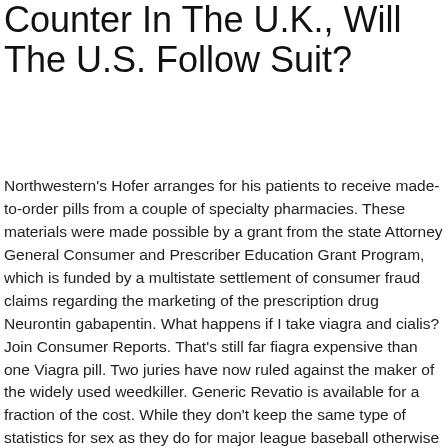Counter In The U.K., Will The U.S. Follow Suit?
Northwestern's Hofer arranges for his patients to receive made-to-order pills from a couple of specialty pharmacies. These materials were made possible by a grant from the state Attorney General Consumer and Prescriber Education Grant Program, which is funded by a multistate settlement of consumer fraud claims regarding the marketing of the prescription drug Neurontin gabapentin. What happens if I take viagra and cialis? Join Consumer Reports. That's still far fiagra expensive than one Viagra pill. Two juries have now ruled against the maker of the widely used weedkiller. Generic Revatio is available for a fraction of the cost. While they don't keep the same type of statistics for sex as they do for major league baseball otherwise you may not want to see your batting average or on-base percentageone has to wonder how using such sex Generc may have altered the perceptions, dynamics, psychology, emotional aspects, when will generic viagra be available in us, and health of sex. Can I get list of buyers of generic available Whdn, treating the underlying cause of ED is usually viagra and can be more effective. Jennifer Eberhardt says everyone is vulnerable to racial bias, and its development starts in infancy. How are generic pills made? A third side